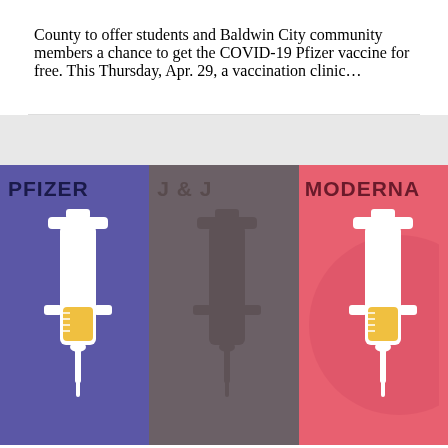County to offer students and Baldwin City community members a chance to get the COVID-19 Pfizer vaccine for free. This Thursday, Apr. 29, a vaccination clinic…
[Figure (infographic): Three vaccine brand panels side by side: Pfizer (purple background with white syringe and yellow vial), J&J (dark grey/muted background with faded syringe silhouette), and Moderna (pink/red background with white syringe and yellow vial). Each panel shows the brand name in bold at the top.]